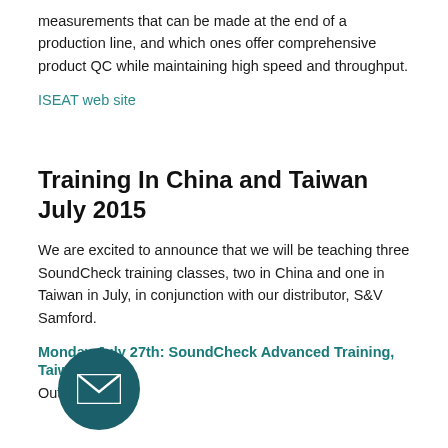measurements that can be made at the end of a production line, and which ones offer comprehensive product QC while maintaining high speed and throughput.
ISEAT web site
Training In China and Taiwan July 2015
We are excited to announce that we will be teaching three SoundCheck training classes, two in China and one in Taiwan in July, in conjunction with our distributor, S&V Samford.
Monday July 27th: SoundCheck Advanced Training, Taiwan
Outline: